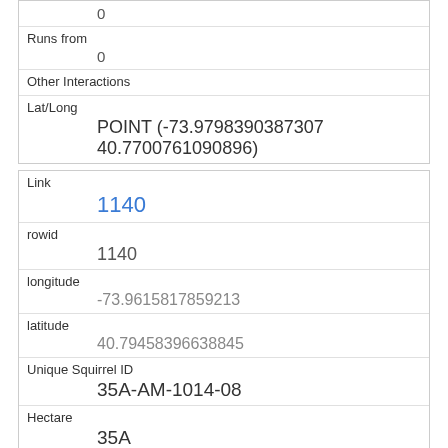|  | 0 |
| Runs from | 0 |
| Other Interactions |  |
| Lat/Long | POINT (-73.9798390387307 40.7700761090896) |
| Link | 1140 |
| rowid | 1140 |
| longitude | -73.9615817859213 |
| latitude | 40.79458396638845 |
| Unique Squirrel ID | 35A-AM-1014-08 |
| Hectare | 35A |
| Shift |  |